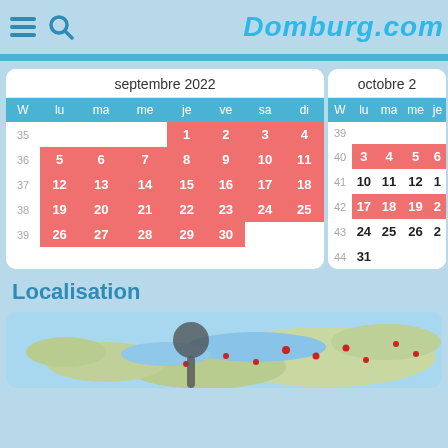Domburg.com
[Figure (screenshot): Calendar for septembre 2022 showing weeks 35-39 with dates 1-30, most dates highlighted in red/coral]
[Figure (screenshot): Calendar for octobre 2022 (partial) showing weeks 39-44 with some dates highlighted in red/coral]
Localisation
[Figure (map): Map showing coastal region of Netherlands (Zeeland area) with location markers]